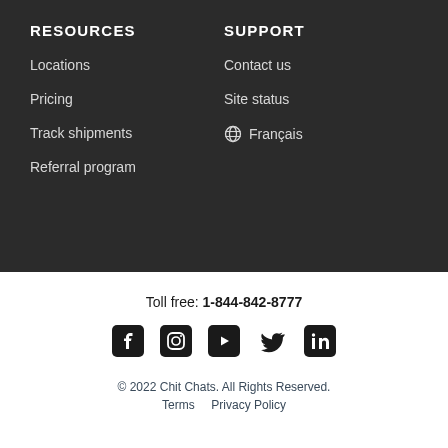RESOURCES
Locations
Pricing
Track shipments
Referral program
SUPPORT
Contact us
Site status
⊕ Français
Toll free: 1-844-842-8777
[Figure (infographic): Social media icons: Facebook, Instagram, YouTube, Twitter, LinkedIn]
© 2022 Chit Chats. All Rights Reserved. Terms   Privacy Policy